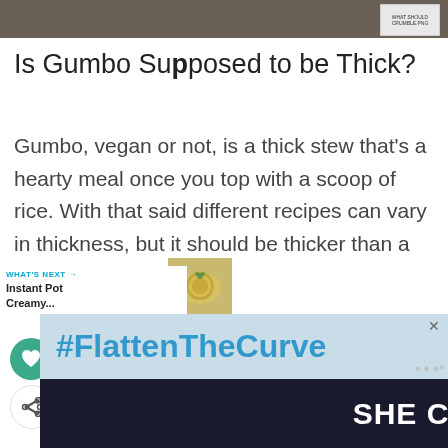[Figure (photo): Top portion of a photo showing people in background, partially visible]
Is Gumbo Supposed to be Thick?
Gumbo, vegan or not, is a thick stew that's a hearty meal once you top with a scoop of rice. With that said different recipes can vary in thickness, but it should be thicker than a soup in my opinion.
[Figure (other): What's Next promo showing Instant Pot Creamy... with thumbnail of creamy dish]
[Figure (other): Advertisement banner: #FlattenTheCurve SHE CAN STEM]